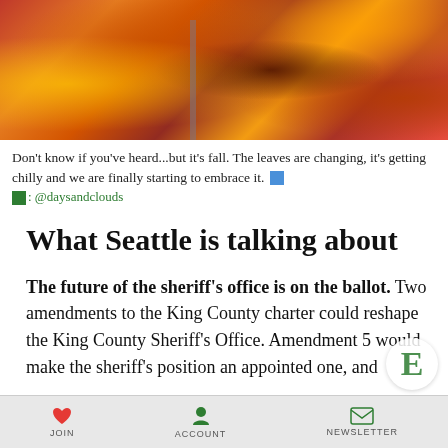[Figure (photo): Autumn leaves photo — orange, red, and brown fallen leaves, some wet, with a vertical metal bar/railing visible]
Don't know if you've heard...but it's fall. The leaves are changing, it's getting chilly and we are finally starting to embrace it. 📷: @daysandclouds
What Seattle is talking about
The future of the sheriff's office is on the ballot. Two amendments to the King County charter could reshape the King County Sheriff's Office. Amendment 5 would make the sheriff's position an appointed one, and Amendment 6 would bring the King County...